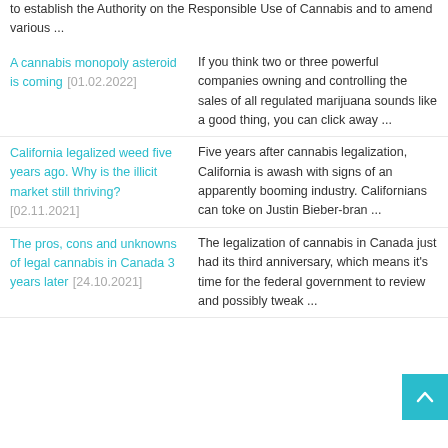to establish the Authority on the Responsible Use of Cannabis and to amend various ...
A cannabis monopoly asteroid is coming [01.02.2022] | If you think two or three powerful companies owning and controlling the sales of all regulated marijuana sounds like a good thing, you can click away ...
California legalized weed five years ago. Why is the illicit market still thriving? [02.11.2021] | Five years after cannabis legalization, California is awash with signs of an apparently booming industry. Californians can toke on Justin Bieber-bran ...
The pros, cons and unknowns of legal cannabis in Canada 3 years later [24.10.2021] | The legalization of cannabis in Canada just had its third anniversary, which means it's time for the federal government to review and possibly tweak ...